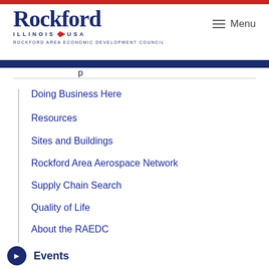[Figure (logo): Rockford Illinois USA logo with ROCKFORD AREA ECONOMIC DEVELOPMENT COUNCIL text]
Menu
Doing Business Here
Resources
Sites and Buildings
Rockford Area Aerospace Network
Supply Chain Search
Quality of Life
About the RAEDC
News
Events